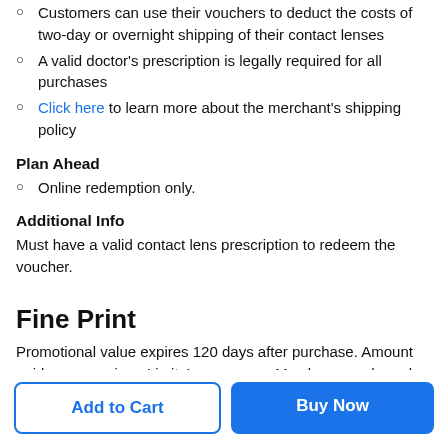Customers can use their vouchers to deduct the costs of two-day or overnight shipping of their contact lenses
A valid doctor's prescription is legally required for all purchases
Click here to learn more about the merchant's shipping policy
Plan Ahead
Online redemption only.
Additional Info
Must have a valid contact lens prescription to redeem the voucher.
Fine Print
Promotional value expires 120 days after purchase. Amount paid never expires. Limit 4 per person. May be repurchased every 180 days. Must use promotional value in 1 visit. Valid only for option purchased. Merchant is solely responsible to purchasers for the care and quality of the advertised goods and services. Learn about